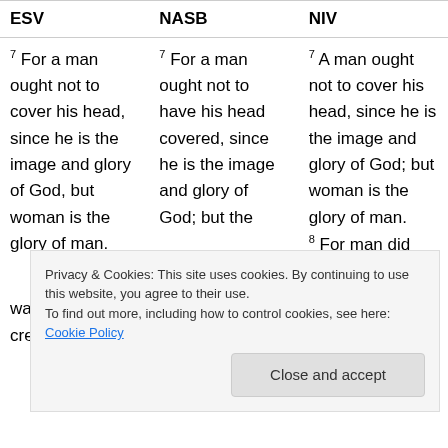| ESV | NASB | NIV |
| --- | --- | --- |
| 7 For a man ought not to cover his head, since he is the image and glory of God, but woman is the glory of man. | 7 For a man ought not to have his head covered, since he is the image and glory of God; but the | 7 A man ought not to cover his head, since he is the image and glory of God; but woman is the glory of man. 8 For man did not |
| was man created | woman, but | for woman, but |
Privacy & Cookies: This site uses cookies. By continuing to use this website, you agree to their use. To find out more, including how to control cookies, see here: Cookie Policy